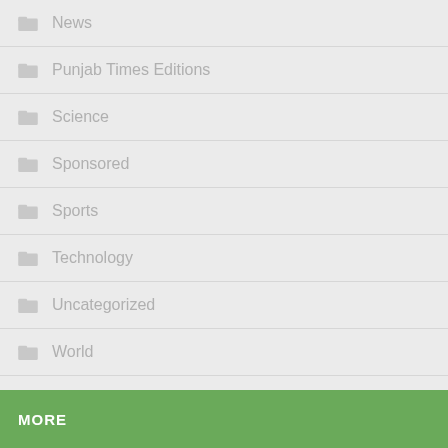News
Punjab Times Editions
Science
Sponsored
Sports
Technology
Uncategorized
World
MORE